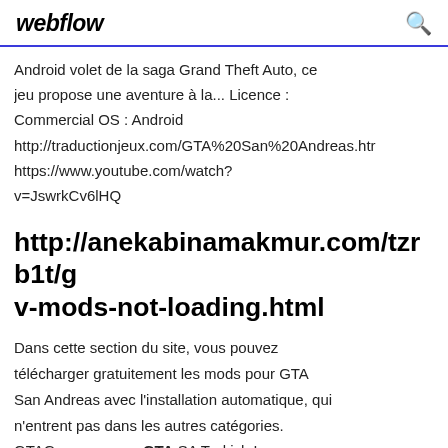webflow
Android volet de la saga Grand Theft Auto, ce jeu propose une aventure à la... Licence : Commercial OS : Android http://traductionjeux.com/GTA%20San%20Andreas.htr https://www.youtube.com/watch?v=JswrkCv6lHQ
http://anekabinamakmur.com/tzrb1t/gv-mods-not-loading.html
Dans cette section du site, vous pouvez télécharger gratuitement les mods pour GTA San Andreas avec l'installation automatique, qui n'entrent pas dans les autres catégories. GTAGarage.com » GTA SA Turkish Language